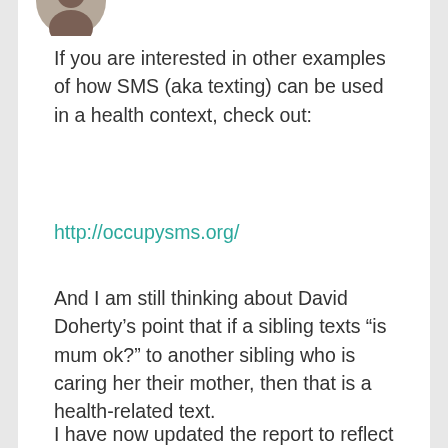[Figure (photo): Cropped bottom portion of a person's avatar/profile photo showing dark hair at the top of the page]
If you are interested in other examples of how SMS (aka texting) can be used in a health context, check out:
http://occupysms.org/
And I am still thinking about David Doherty’s point that if a sibling texts “is mum ok?” to another sibling who is caring her their mother, then that is a health-related text.
I have now updated the report to reflect this — deleting “Few are texting for health-related purposes” and replacing it with “Few receive text alerts about health